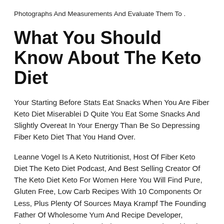Photographs And Measurements And Evaluate Them To .
What You Should Know About The Keto Diet
Your Starting Before Stats Eat Snacks When You Are Fiber Keto Diet Miserablei D Quite You Eat Some Snacks And Slightly Overeat In Your Energy Than Be So Depressing Fiber Keto Diet That You Hand Over.
Leanne Vogel Is A Keto Nutritionist, Host Of Fiber Keto Diet The Keto Diet Podcast, And Best Selling Creator Of The Keto Diet Keto For Women Here You Will Find Pure, Gluten Free, Low Carb Recipes With 10 Components Or Less, Plus Plenty Of Sources Maya Krampf The Founding Father Of Wholesome Yum And Recipe Developer, Photographer, Writer, Meal Plan Creator, And Cookbook